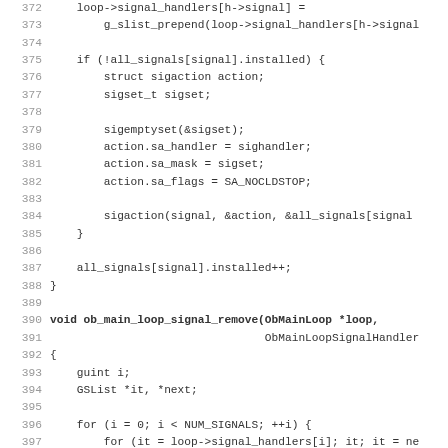[Figure (screenshot): Source code listing in monospace font showing C code for signal handler loop functions, lines 372-403, with line numbers on the left and code content on the right. Lines include loop->signal_handlers assignment, g_slist_prepend call, if block checking all_signals installed, struct sigaction, sigset_t, sigemptyset, action setup, sigaction call, all_signals installed increment, closing brace, void ob_main_loop_signal_remove function signature, opening brace, guint i, GSList declarations, for loops iterating NUM_SIGNALS and signal_handlers, ObMainLoopSignalHandlerType pointer, g_slist_next call, and if h->func == handler check.]